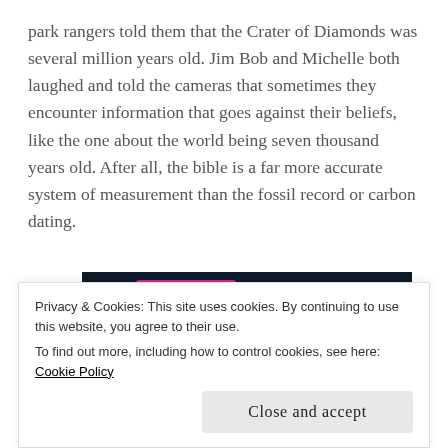park rangers told them that the Crater of Diamonds was several million years old. Jim Bob and Michelle both laughed and told the cameras that sometimes they encounter information that goes against their beliefs, like the one about the world being seven thousand years old. After all, the bible is a far more accurate system of measurement than the fossil record or carbon dating.
[Figure (screenshot): Dark navy advertisement banner with pink 'START NOW' button and Crowdsignal logo in a dotted circle on the right side.]
Privacy & Cookies: This site uses cookies. By continuing to use this website, you agree to their use.
To find out more, including how to control cookies, see here: Cookie Policy
Close and accept